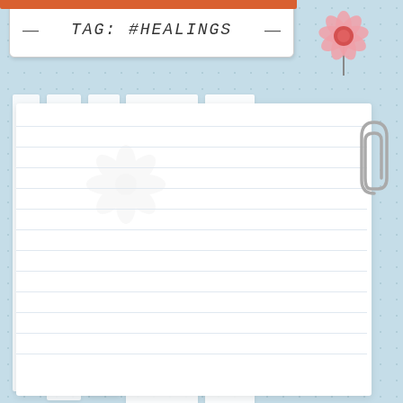TAG: #HEALINGS
[Figure (illustration): Pink daisy flower decoration in top right corner with stem]
[Figure (illustration): Faint watermark flower in the center-left area of the white notebook page]
[Figure (illustration): Gray paperclip attached to the right side of the notebook pages]